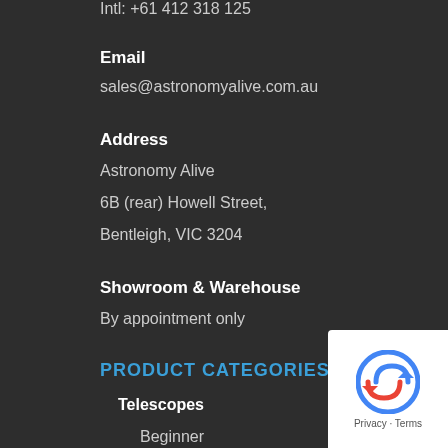Intl: +61 412 318 125
Email
sales@astronomyalive.com.au
Address
Astronomy Alive
6B (rear) Howell Street,
Bentleigh, VIC 3204
Showroom & Warehouse
By appointment only
PRODUCT CATEGORIES
Telescopes
Beginner
Intermediate
Advanced